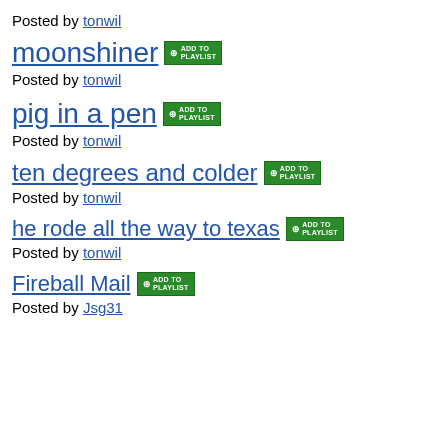Posted by tonwil
moonshiner [ADD TO PLAYLIST]
Posted by tonwil
pig in a pen [ADD TO PLAYLIST]
Posted by tonwil
ten degrees and colder [ADD TO PLAYLIST]
Posted by tonwil
he rode all the way to texas [ADD TO PLAYLIST]
Posted by tonwil
Fireball Mail [ADD TO PLAYLIST]
Posted by Jsg31